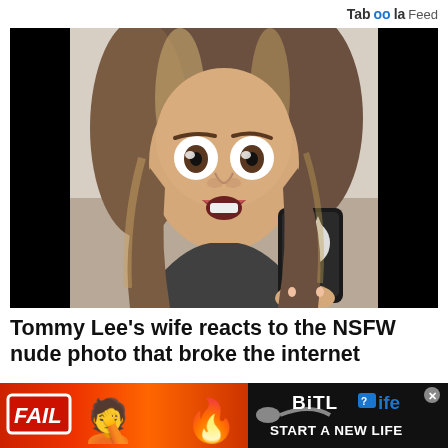Taboola Feed
[Figure (photo): Woman with surprised/shocked expression holding a phone with a cat phone case, taking a mirror selfie. She has long brown and blonde highlighted hair. Background is a room interior. Photo has black bars on left and right sides.]
Tommy Lee's wife reacts to the NSFW nude photo that broke the internet
Brittany Furlan, Mötley Crüe drummer Tommy Lee's wife, posts a reaction video in response to her husband …
[Figure (infographic): Advertisement banner with red/orange background. Shows 'FAIL' text in white on red box, facepalm emoji, flame emoji on left side. Right side has black background with BitLife logo and 'START A NEW LIFE' text.]